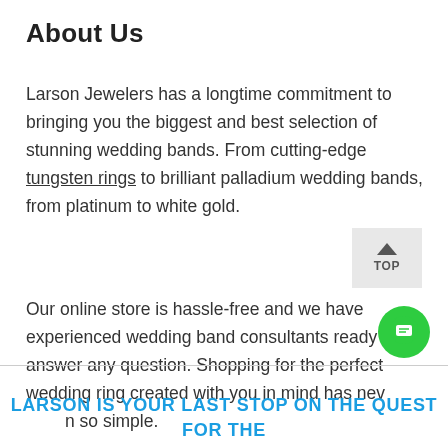About Us
Larson Jewelers has a longtime commitment to bringing you the biggest and best selection of stunning wedding bands. From cutting-edge tungsten rings to brilliant palladium wedding bands, from platinum to white gold.
Our online store is hassle-free and we have experienced wedding band consultants ready to answer any question. Shopping for the perfect wedding ring created with you in mind has never been so simple.
LARSON IS YOUR LAST STOP ON THE QUEST FOR THE